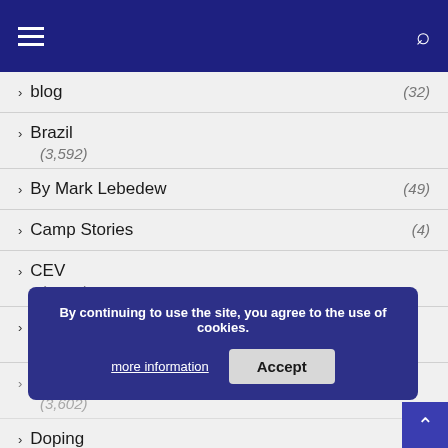Navigation header with hamburger menu and search icon
blog (32)
Brazil (3,592)
By Mark Lebedew (49)
Camp Stories (4)
CEV (1,808)
Did You Know? (1,289)
Done deals (3,602)
Doping
By continuing to use the site, you agree to the use of cookies. more information Accept